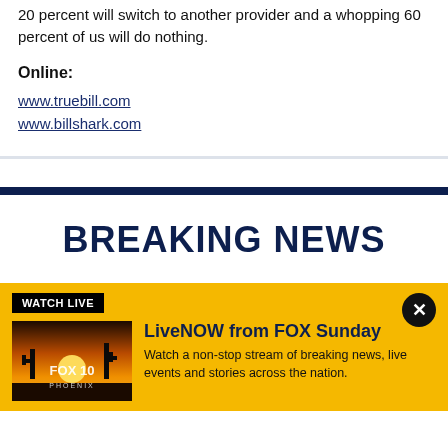20 percent will switch to another provider and a whopping 60 percent of us will do nothing.
Online:
www.truebill.com
www.billshark.com
BREAKING NEWS
[Figure (screenshot): Yellow breaking news banner with FOX 10 Phoenix LiveNOW thumbnail, WATCH LIVE badge, close button, and text: LiveNOW from FOX Sunday - Watch a non-stop stream of breaking news, live events and stories across the nation.]